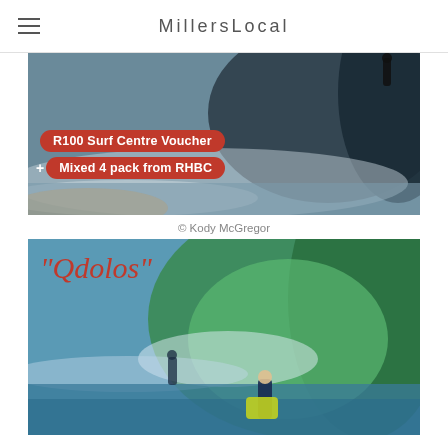MillersLocal
[Figure (photo): Aerial surf photo with red rounded-rectangle overlays reading 'R100 Surf Centre Voucher' and '+ Mixed 4 pack from RHBC']
© Kody McGregor
[Figure (photo): Ocean surf photo with a bodyboarder in the barrel of a large green wave, with handwritten red text overlay reading '"Qdolos"']